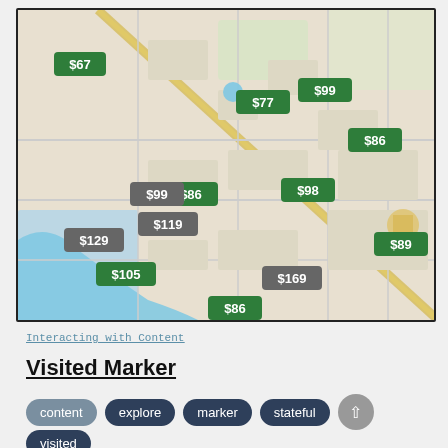[Figure (map): Street map showing price markers at various locations. Green markers: $67, $77, $99, $86, $86, $98, $89, $105, $86. Gray markers: $99, $119, $129, $169.]
Interacting with Content
Visited Marker
content
explore
marker
stateful
visited